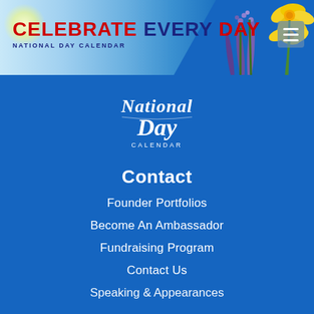[Figure (illustration): National Day Calendar website header banner with blue sky, yellow daffodils and purple flowers on the right, sun glow on upper left, 'CELEBRATE EVERY DAY' text in red/navy and 'NATIONAL DAY CALENDAR' subtitle, hamburger menu icon on right]
[Figure (logo): National Day Calendar cursive logo in white on blue background]
Contact
Founder Portfolios
Become An Ambassador
Fundraising Program
Contact Us
Speaking & Appearances